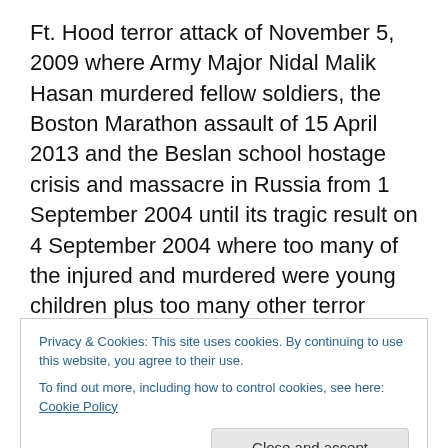Ft. Hood terror attack of November 5, 2009 where Army Major Nidal Malik Hasan murdered fellow soldiers, the Boston Marathon assault of 15 April 2013 and the Beslan school hostage crisis and massacre in Russia from 1 September 2004 until its tragic result on 4 September 2004 where too many of the injured and murdered were young children plus too many other terror attacks robbing people of their lives and livelihoods all through the world that it is unfathomable that somehow the world finds a path every time and everyone seems to simply return to their routine and daily lives no longer giving even a second
Privacy & Cookies: This site uses cookies. By continuing to use this website, you agree to their use. To find out more, including how to control cookies, see here: Cookie Policy
fall asleep once again, is almost beyond reason.